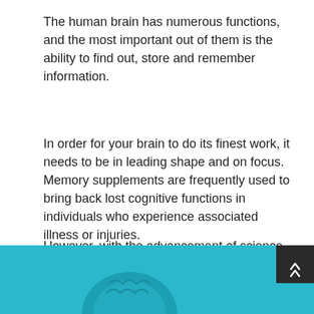The human brain has numerous functions, and the most important out of them is the ability to find out, store and remember information.
In order for your brain to do its finest work, it needs to be in leading shape and on focus. Memory supplements are frequently used to bring back lost cognitive functions in individuals who experience associated illness or injuries.
However, with the advancement of science and research study, any age groups can optimize their productivity with tested stimulants.
[Figure (illustration): Teal/cyan colored banner at the bottom of the page with a partial brain illustration and a dark scroll-to-top button with chevron arrows on the right side.]